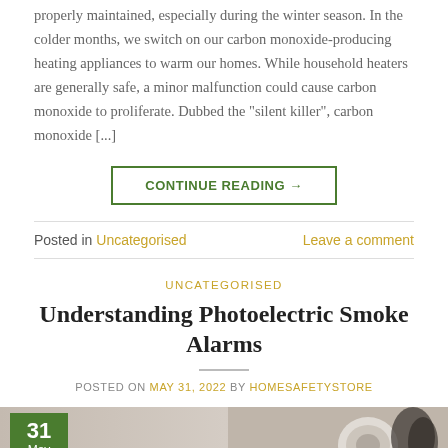properly maintained, especially during the winter season. In the colder months, we switch on our carbon monoxide-producing heating appliances to warm our homes. While household heaters are generally safe, a minor malfunction could cause carbon monoxide to proliferate. Dubbed the “silent killer”, carbon monoxide [...]
CONTINUE READING →
Posted in Uncategorised   Leave a comment
UNCATEGORISED
Understanding Photoelectric Smoke Alarms
POSTED ON MAY 31, 2022 BY HOMESAFETYSTORE
[Figure (photo): Photo of a smoke alarm with a date badge showing 31 May in a green box]